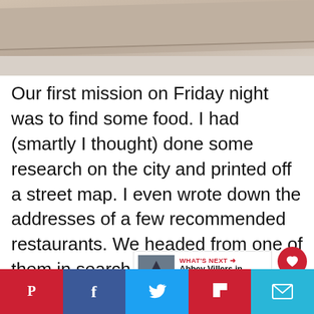[Figure (photo): Top portion of a photo showing a tiled or stone floor/surface with beige and grey tones]
Our first mission on Friday night was to find some food. I had (smartly I thought) done some research on the city and printed off a street map. I even wrote down the addresses of a few recommended restaurants. We headed from one of them in search of supper. My brilliant idea failed miserably. The restaurant was closed – as in permanently. So we wandered.